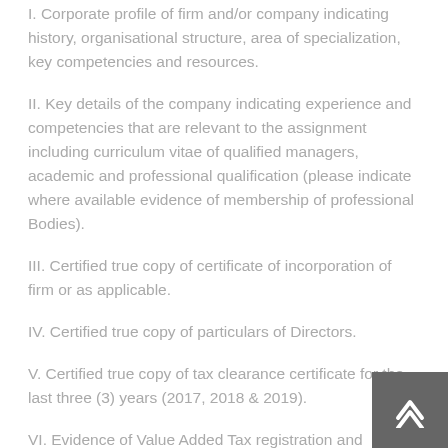I. Corporate profile of firm and/or company indicating history, organisational structure, area of specialization, key competencies and resources.
II. Key details of the company indicating experience and competencies that are relevant to the assignment including curriculum vitae of qualified managers, academic and professional qualification (please indicate where available evidence of membership of professional Bodies).
III. Certified true copy of certificate of incorporation of firm or as applicable.
IV. Certified true copy of particulars of Directors.
V. Certified true copy of tax clearance certificate for the last three (3) years (2017, 2018 & 2019).
VI. Evidence of Value Added Tax registration and